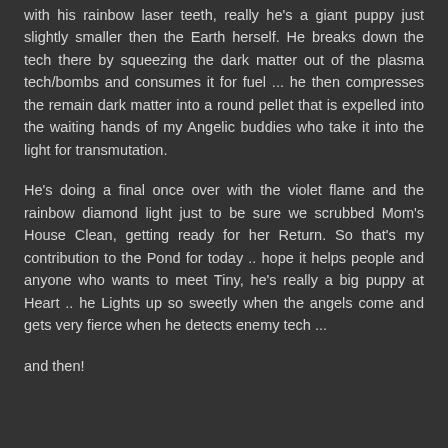with his rainbow laser teeth, really he's a giant puppy just slightly smaller then the Earth herself. He breaks down the tech there by squeezing the dark matter out of the plasma tech/bombs and consumes it for fuel ... he then compresses the remain dark matter into a round pellet that is expelled into the waiting hands of my Angelic buddies who take it into the light for transmutation.
He's doing a final once over with the violet flame and the rainbow diamond light just to be sure we scrubbed Mom's House Clean, getting ready for her Return. So that's my contribution to the Pond for today .. hope it helps people and anyone who wants to meet Tiny, he's really a big puppy at Heart .. he Lights up so sweetly when the angels come and gets very fierce when he detects enemy tech ...
and then!